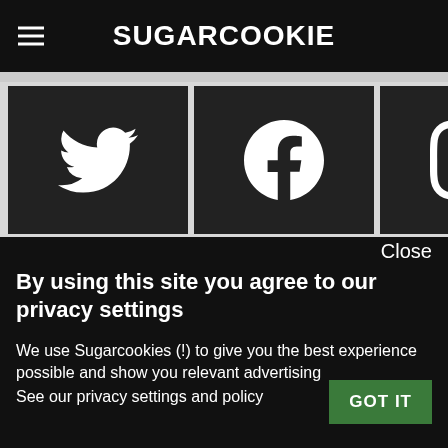SUGARCOOKIE
[Figure (screenshot): Four social media icons in dark squares: Twitter bird, Facebook f, Instagram camera, YouTube play button]
Close
By using this site you agree to our privacy settings
We use Sugarcookies (!) to give you the best experience possible and show you relevant advertising
See our privacy settings and policy
GOT IT